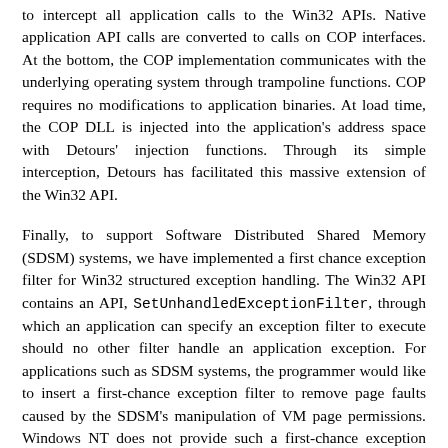to intercept all application calls to the Win32 APIs. Native application API calls are converted to calls on COP interfaces. At the bottom, the COP implementation communicates with the underlying operating system through trampoline functions. COP requires no modifications to application binaries. At load time, the COP DLL is injected into the application's address space with Detours' injection functions. Through its simple interception, Detours has facilitated this massive extension of the Win32 API.
Finally, to support Software Distributed Shared Memory (SDSM) systems, we have implemented a first chance exception filter for Win32 structured exception handling. The Win32 API contains an API, SetUnhandledExceptionFilter, through which an application can specify an exception filter to execute should no other filter handle an application exception. For applications such as SDSM systems, the programmer would like to insert a first-chance exception filter to remove page faults caused by the SDSM's manipulation of VM page permissions. Windows NT does not provide such a first-chance exception filter mechanism. A simple detour intercepts the exception entry point from kernel mode to user mode (KiUserExceptionDispatcher). With only a few lines of code, the detour function calls a user-provided first-chance exception filter and then forwards the exception, if unhandled, to the default exception mechanism through a trampoline.